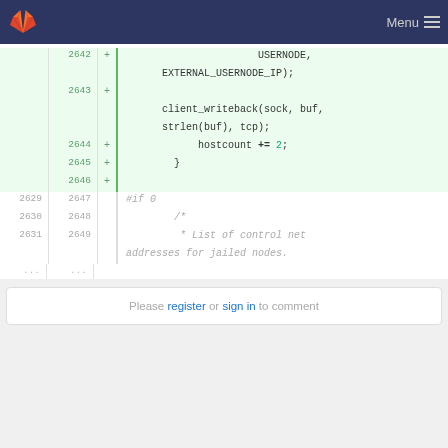GitLab navigation bar with Menu
Code diff showing lines 2642-2649 with additions:
2642 + USERNODE, EXTERNAL_USERNODE_IP);
2643 + client_writeback(sock, buf, strlen(buf), tcp);
2644 + hostcount += 2;
2645 + }
2646 +
2629 2647   #if 0
2630 2648   /*
2631 2649   * List of control net addresses for jailed nodes.
...  ...
Please register or sign in to comment